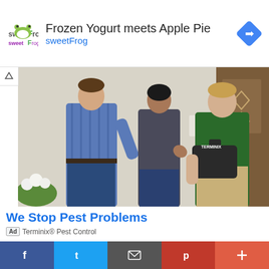[Figure (infographic): sweetFrog frozen yogurt advertisement banner with logo, headline 'Frozen Yogurt meets Apple Pie', brand name 'sweetFrog', and Google navigation diamond icon]
[Figure (photo): Terminix pest control advertisement photo showing a service technician in green polo shirt holding a black bag, talking with a couple at their front door]
We Stop Pest Problems
Ad  Terminix® Pest Control
[Figure (infographic): Medical billing advertisement with blue medical briefcase logo with speed lines and text 'Medical Billing @ 2.99%' and 'Ad BellMedEx.com']
f  t  [mail]  p  +